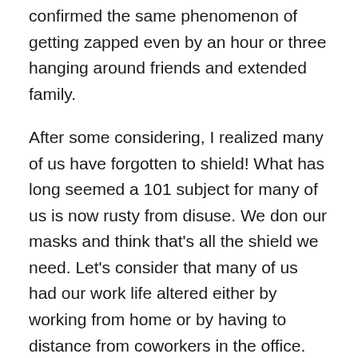confirmed the same phenomenon of getting zapped even by an hour or three hanging around friends and extended family.
After some considering, I realized many of us have forgotten to shield! What has long seemed a 101 subject for many of us is now rusty from disuse. We don our masks and think that's all the shield we need. Let's consider that many of us had our work life altered either by working from home or by having to distance from coworkers in the office. Yes, there were stresses from isolation, but picking up tidbits of other people's energies (especially for those of us who are empathic) wasn't prime among them. Nor was losing tidbits of your energy to others (especially for those people pleasers). Now that many of us returned to a normal work environment and have dipped our toes back into social waters, we need to